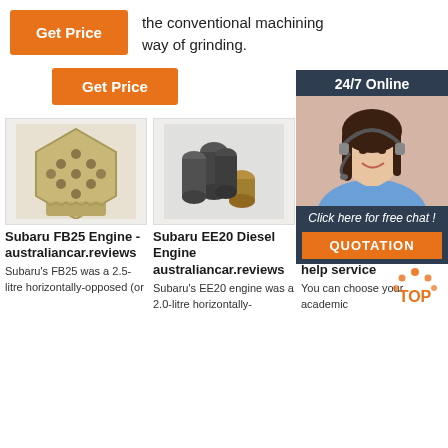the conventional machining way of grinding.
[Figure (other): Orange 'Get Price' button (top left)]
[Figure (other): Orange 'Get Price' button (middle)]
[Figure (other): 24/7 Online chat widget with woman wearing headset, 'Click here for free chat!' and orange QUOTATION button]
[Figure (photo): Honeycomb-shaped ceramic/refractory product photo]
[Figure (photo): Dark metal cylindrical parts / sockets photo]
[Figure (photo): White toilet/bathroom fixture photo]
Subaru FB25 Engine - australiancar.reviews
Subaru's FB25 was a 2.5-litre horizontally-opposed (or
Subaru EE20 Diesel Engine australiancar.reviews
Subaru's EE20 engine was a 2.0-litre horizontally-
Achie... Essays - Your favorite homework help service
You can choose your academic